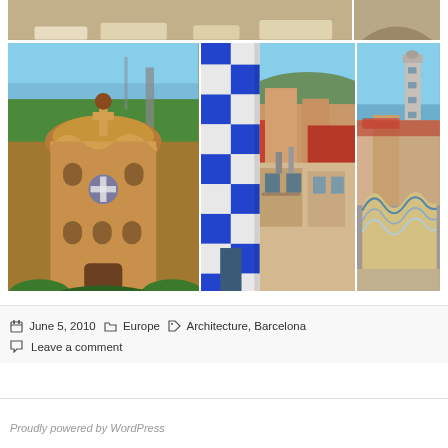[Figure (photo): Top photo strip: Barcelona park pavement with benches and terrace, plus arch on right]
[Figure (photo): Three Barcelona photos side by side: Gaudi gingerbread house at Park Guell (left), blue and white checkered column with city rooftop view (center), Barcelona skyline with tower and mosaic sculpture (right)]
June 5, 2010   Europe   Architecture, Barcelona   Leave a comment
Proudly powered by WordPress